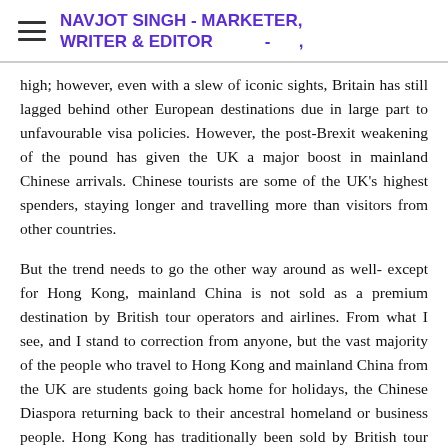NAVJOT SINGH - MARKETER, WRITER & EDITOR  -  ,
high; however, even with a slew of iconic sights, Britain has still lagged behind other European destinations due in large part to unfavourable visa policies. However, the post-Brexit weakening of the pound has given the UK a major boost in mainland Chinese arrivals. Chinese tourists are some of the UK's highest spenders, staying longer and travelling more than visitors from other countries.
But the trend needs to go the other way around as well- except for Hong Kong, mainland China is not sold as a premium destination by British tour operators and airlines. From what I see, and I stand to correction from anyone, but the vast majority of the people who travel to Hong Kong and mainland China from the UK are students going back home for holidays, the Chinese Diaspora returning back to their ancestral homeland or business people. Hong Kong has traditionally been sold by British tour operators